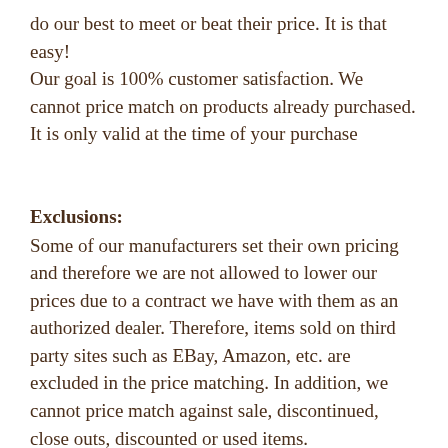do our best to meet or beat their price. It is that easy!
Our goal is 100% customer satisfaction. We cannot price match on products already purchased. It is only valid at the time of your purchase
Exclusions:
Some of our manufacturers set their own pricing and therefore we are not allowed to lower our prices due to a contract we have with them as an authorized dealer. Therefore, items sold on third party sites such as EBay, Amazon, etc. are excluded in the price matching. In addition, we cannot price match against sale, discontinued, close outs, discounted or used items.